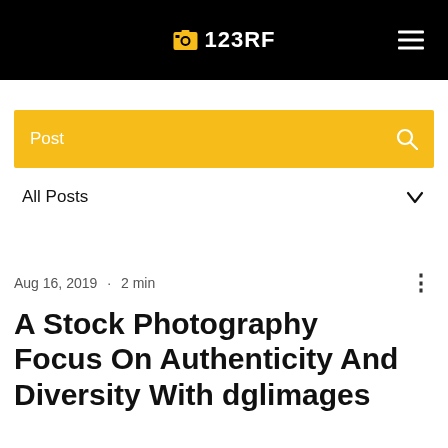123RF
Post
All Posts
Aug 16, 2019 · 2 min
A Stock Photography Focus On Authenticity And Diversity With dglimages